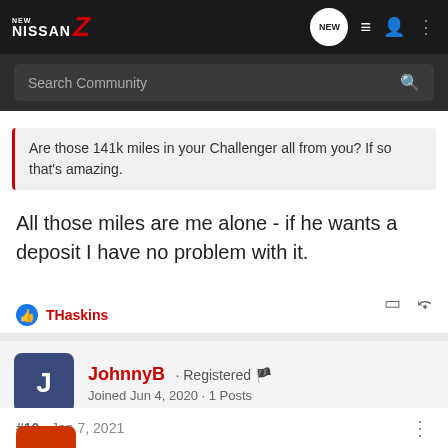NEW NISSAN Z - community forum header with search bar
Are those 141k miles in your Challenger all from you? If so that's amazing.
All those miles are me alone - if he wants a deposit I have no problem with it.
THashkins
JohnnyB · Registered
Joined Jun 4, 2020 · 1 Posts
#10 · Jan 7, 2021